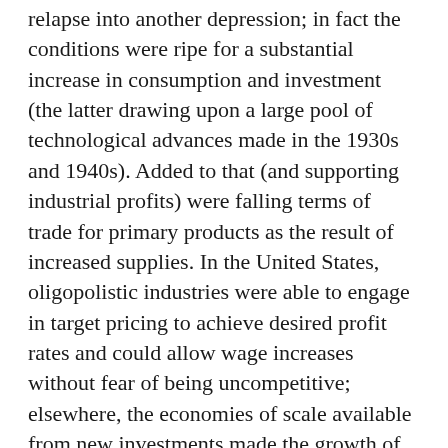relapse into another depression; in fact the conditions were ripe for a substantial increase in consumption and investment (the latter drawing upon a large pool of technological advances made in the 1930s and 1940s). Added to that (and supporting industrial profits) were falling terms of trade for primary products as the result of increased supplies. In the United States, oligopolistic industries were able to engage in target pricing to achieve desired profit rates and could allow wage increases without fear of being uncompetitive; elsewhere, the economies of scale available from new investments made the growth of consumption as the result of wage increases a net benefit rather a challenge to profitability.
Here was the setting in which the virtuous circle of the Fordist model could flourish: increased output stimulated gains in consumption and vice versa—in developed countries as well as those developing countries that had led to industrially on the base of